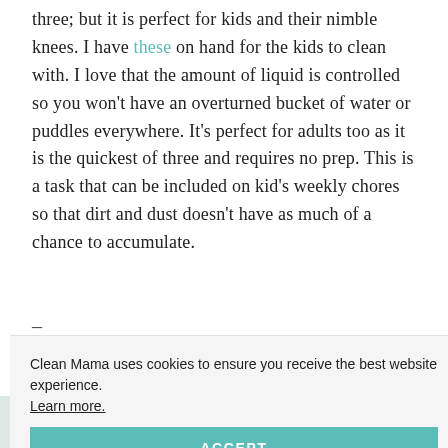three; but it is perfect for kids and their nimble knees. I have these on hand for the kids to clean with. I love that the amount of liquid is controlled so you won't have an overturned bucket of water or puddles everywhere. It's perfect for adults too as it is the quickest of three and requires no prep. This is a task that can be included on kid's weekly chores so that dirt and dust doesn't have as much of a chance to accumulate.
—
Clean Mama uses cookies to ensure you receive the best website experience. Learn more.
ACCEPT
ning simple oose one hite trim in